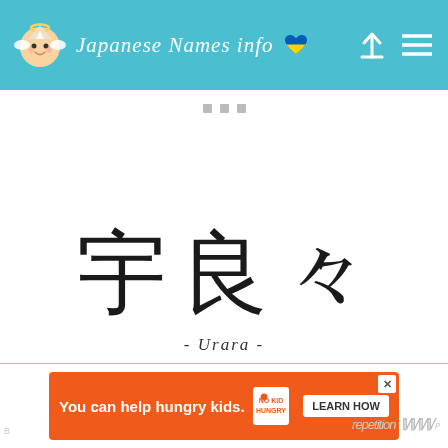Japanese Names info
breadcrumb navigation icons
宇良々
- Urara -
[Figure (other): Advertisement banner: You can help hungry kids. No Kid Hungry. Learn How.]